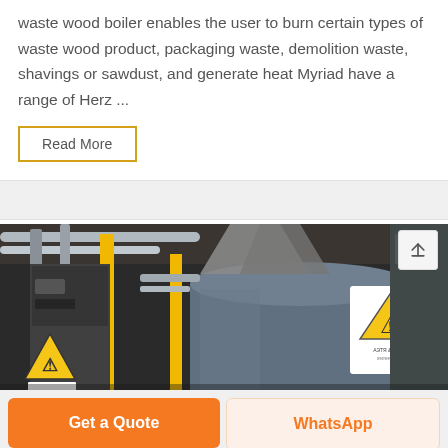waste wood boiler enables the user to burn certain types of waste wood product, packaging waste, demolition waste, shavings or sawdust, and generate heat Myriad have a range of Herz ...
Read More
[Figure (photo): Industrial boiler room with pipes, yellow pillars, machinery, and a warning sign with a triangle caution label.]
Get a Quote
WhatsApp